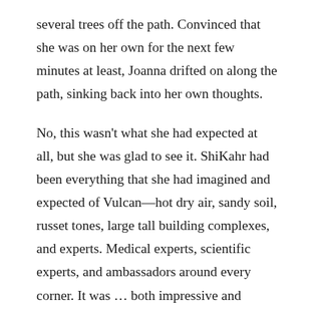several trees off the path. Convinced that she was on her own for the next few minutes at least, Joanna drifted on along the path, sinking back into her own thoughts.
No, this wasn't what she had expected at all, but she was glad to see it. ShiKahr had been everything that she had imagined and expected of Vulcan—hot dry air, sandy soil, russet tones, large tall building complexes, and experts. Medical experts, scientific experts, and ambassadors around every corner. It was … both impressive and utterly intimidating. She had almost turned down this residency offer on the strength of that intimidation alone, but her daddy had reminded her that Vulcana Regar was not ShiKahr, and that maybe she'd want to get all the facts before she made her decision. And so here they were—getting the facts.